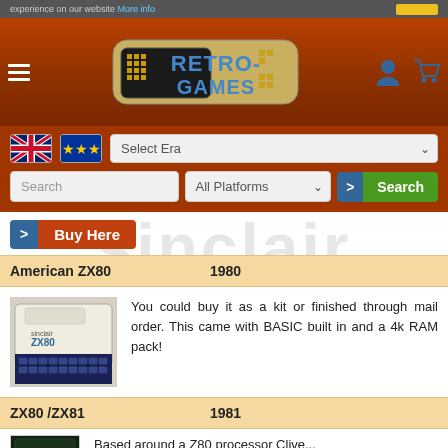experience on our website More info
[Figure (logo): Retro Games website logo with pixel art styling on brown/orange background header with hamburger menu, UK and EU flags, era selector, search bar, platform selector, and Search button]
[Figure (illustration): Large light grey watermark text reading 'sinclair' across the white content area]
> Buy Here
| Name | Year |
| --- | --- |
| American ZX80 | 1980 |
| ZX80 /ZX81 | 1981 |
[Figure (photo): Photo of a Sinclair ZX80 computer, white/cream colored with black keyboard]
You could buy it as a kit or finished through mail order. This came with BASIC built in and a 4k RAM pack!
[Figure (photo): Partial photo of another Sinclair computer (ZX80/ZX81 era), dark colored, partially visible at bottom of page]
Based around a Z80 processor Clive...